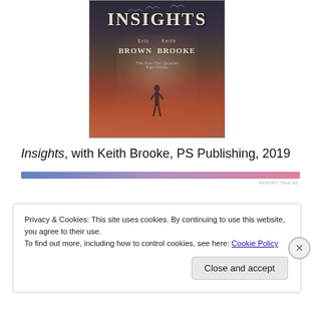[Figure (illustration): Book cover for 'Insights' by Eric Brown and Keith Brooke. Dark fantasy/sci-fi cover art showing a lone figure standing in a red and dark atmospheric scene with bats/birds flying above. Title 'INSIGHTS' appears at top in large letters, authors 'ERIC BROWN KEITH BROOKE' below, subtitle 'The Kon-Tiki Quartet Part Three' at bottom of text area.]
Insights, with Keith Brooke, PS Publishing, 2019
Privacy & Cookies: This site uses cookies. By continuing to use this website, you agree to their use.
To find out more, including how to control cookies, see here: Cookie Policy
Close and accept